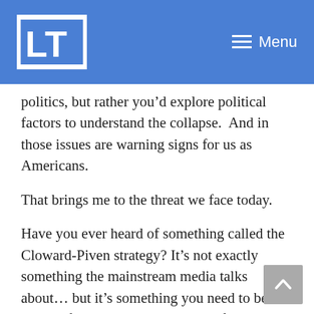LT Menu
politics, but rather you’d explore political factors to understand the collapse.  And in those issues are warning signs for us as Americans.
That brings me to the threat we face today.
Have you ever heard of something called the Cloward-Piven strategy? It’s not exactly something the mainstream media talks about… but it’s something you need to be aware of, because it’s what we’re facing in